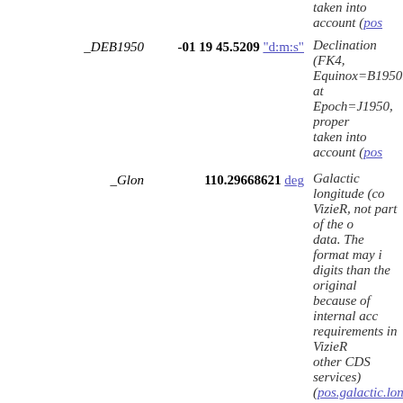taken into account (pos...
| Name | Value | Description |
| --- | --- | --- |
| _DEB1950 | -01 19 45.5209 "d:m:s" | Declination (FK4, Equinox=B1950.0) at Epoch=J1950, proper motion taken into account (pos...) |
| _Glon | 110.29668621 deg | Galactic longitude (computed by VizieR, not part of the original data. The format may include more digits than the original because of internal accuracy requirements in VizieR and other CDS services) (pos.galactic.lon) |
| _Glat | -63.37117675 deg | Galactic latitude (computed by VizieR, not part of the original data. The format may include more digits than the original because of internal accuracy requirements in VizieR and other CDS services) (pos.galactic.lat) |
| mode | 2 | [1,2] 1: primary (469,0 sources), 2: secondary |